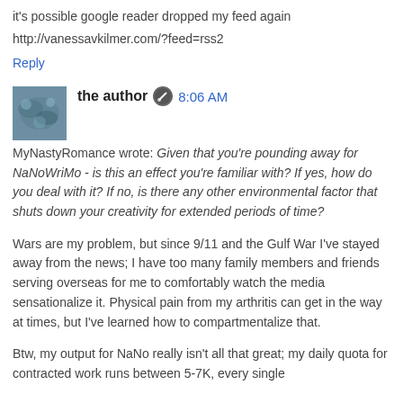it's possible google reader dropped my feed again
http://vanessavkilmer.com/?feed=rss2
Reply
the author  8:06 AM
MyNastyRomance wrote: Given that you're pounding away for NaNoWriMo - is this an effect you're familiar with? If yes, how do you deal with it? If no, is there any other environmental factor that shuts down your creativity for extended periods of time?
Wars are my problem, but since 9/11 and the Gulf War I've stayed away from the news; I have too many family members and friends serving overseas for me to comfortably watch the media sensationalize it. Physical pain from my arthritis can get in the way at times, but I've learned how to compartmentalize that.
Btw, my output for NaNo really isn't all that great; my daily quota for contracted work runs between 5-7K, every single